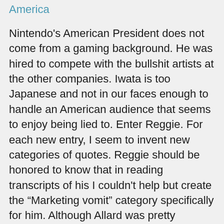America
Nintendo's American President does not come from a gaming background. He was hired to compete with the bullshit artists at the other companies. Iwata is too Japanese and not in our faces enough to handle an American audience that seems to enjoy being lied to. Enter Reggie. For each new entry, I seem to invent new categories of quotes. Reggie should be honored to know that in reading transcripts of his I couldn't help but create the “Marketing vomit” category specifically for him. Although Allard was pretty vomitty, too.